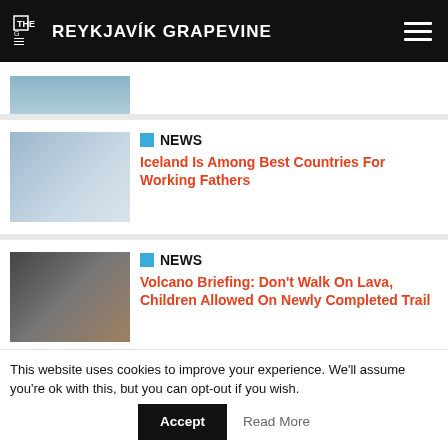THE G REYKJAVÍK GRAPEVINE
[Figure (photo): Partial thumbnail image of an article, cut off at top]
NEWS
Iceland Is Among Best Countries For Working Fathers
[Figure (photo): Photo of a man and child standing in front of a white building]
NEWS
Volcano Briefing: Don't Walk On Lava, Children Allowed On Newly Completed Trail
[Figure (photo): Photo of people on a dark volcanic landscape]
NEWS
Polar Bear Turned Out To Be A Seal
[Figure (photo): Photo of a polar bear or seal on ice]
This website uses cookies to improve your experience. We'll assume you're ok with this, but you can opt-out if you wish.
Accept   Read More